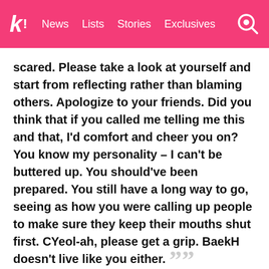K! News Lists Stories Exclusives
scared. Please take a look at yourself and start from reflecting rather than blaming others. Apologize to your friends. Did you think that if you called me telling me this and that, I'd comfort and cheer you on? You know my personality – I can't be buttered up. You should've been prepared. You still have a long way to go, seeing as how you were calling up people to make sure they keep their mouths shut first. CYeol-ah, please get a grip. BaekH doesn't live like you either.
— @iamkimboram on Instagram